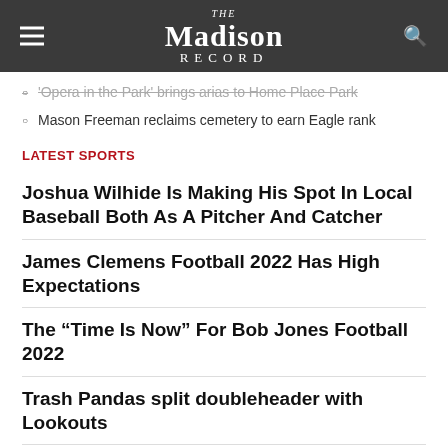The Madison Record
'Opera in the Park' brings arias to Home Place Park
Mason Freeman reclaims cemetery to earn Eagle rank
LATEST SPORTS
Joshua Wilhide Is Making His Spot In Local Baseball Both As A Pitcher And Catcher
James Clemens Football 2022 Has High Expectations
The “Time Is Now” For Bob Jones Football 2022
Trash Pandas split doubleheader with Lookouts